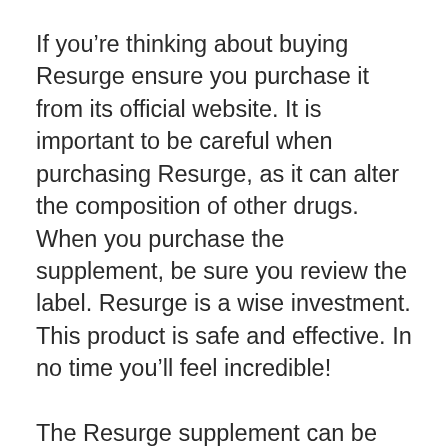If you're thinking about buying Resurge ensure you purchase it from its official website. It is important to be careful when purchasing Resurge, as it can alter the composition of other drugs. When you purchase the supplement, be sure you review the label. Resurge is a wise investment. This product is safe and effective. In no time you'll feel incredible!
The Resurge supplement can be used with confidence. The ingredients are safe for your health and will not cause harm. The company offers a 60-day money-back guarantee for all of its products. The formula does not contain artificial flavors or colors. In addition the supplement is vegan. It is safe